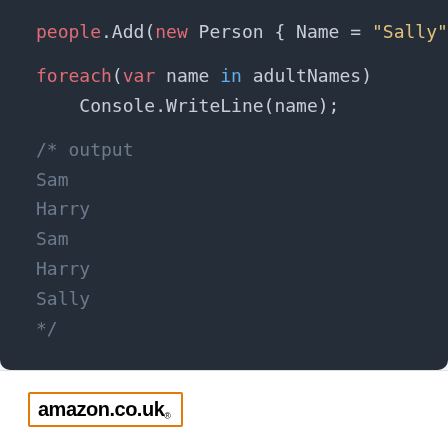[Figure (screenshot): Dark-themed code editor screenshot showing C# code: people.Add(new Person { Name = "Sally", A... followed by a foreach loop iterating var name in adultNames and Console.WriteLine(name); then a block comment showing output: Sam, Harry, Sam, Harry, Sally]
[Figure (logo): Amazon.co.uk logo with orange border]